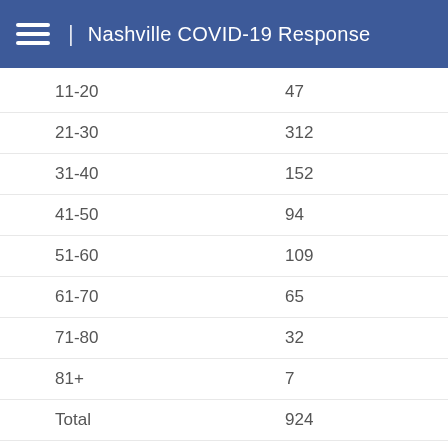Nashville COVID-19 Response
| Age Group | Count |
| --- | --- |
| 11-20 | 47 |
| 21-30 | 312 |
| 31-40 | 152 |
| 41-50 | 94 |
| 51-60 | 109 |
| 61-70 | 65 |
| 71-80 | 32 |
| 81+ | 7 |
| Total | 924 |
| Recovered | 125 |
| Deaths | 6 |